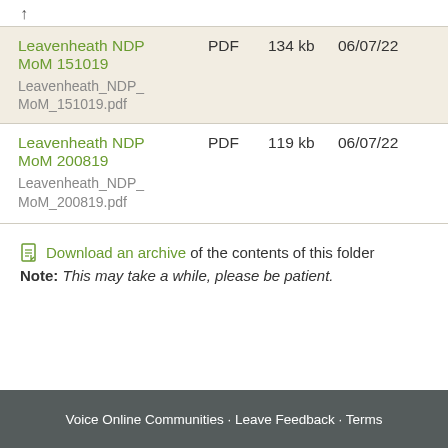↑
| Name | Type | Size | Date |
| --- | --- | --- | --- |
| Leavenheath NDP MoM 151019 | PDF | 134 kb | 06/07/22 |
| Leavenheath NDP MoM 200819 | PDF | 119 kb | 06/07/22 |
Download an archive of the contents of this folder
Note: This may take a while, please be patient.
Voice Online Communities · Leave Feedback · Terms